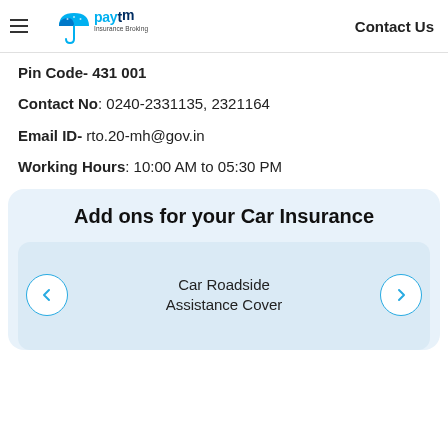Paytm Insurance Broking | Contact Us
Pin Code- 431 001
Contact No: 0240-2331135, 2321164
Email ID- rto.20-mh@gov.in
Working Hours: 10:00 AM to 05:30 PM
Add ons for your Car Insurance
Car Roadside Assistance Cover